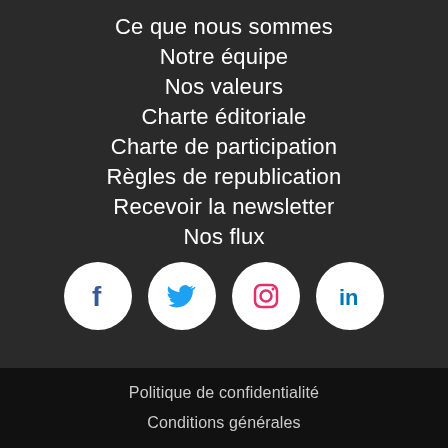Ce que nous sommes
Notre équipe
Nos valeurs
Charte éditoriale
Charte de participation
Règles de republication
Recevoir la newsletter
Nos flux
[Figure (illustration): Four white circular social media icon buttons for Facebook, Twitter, Instagram, and LinkedIn]
Politique de confidentialité
Conditions générales